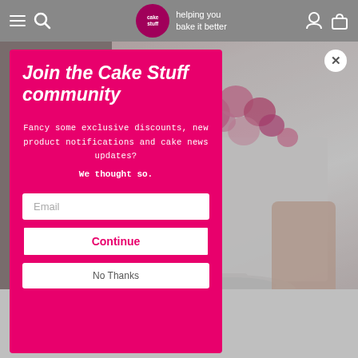cake stuff — helping you bake it better
[Figure (screenshot): Popup modal overlay on a baking e-commerce website showing a newsletter sign-up form with pink background. Title: Join the Cake Stuff community. Body text: Fancy some exclusive discounts, new product notifications and cake news updates? We thought so. Email input field, Continue button, No Thanks button. Close button (X) in top right corner. Right side shows a photo of a white layered cake decorated with pink flowers on a white cake stand held by a person in a white shirt.]
Icing cutters
Item in Stock  |  Express Delivery available